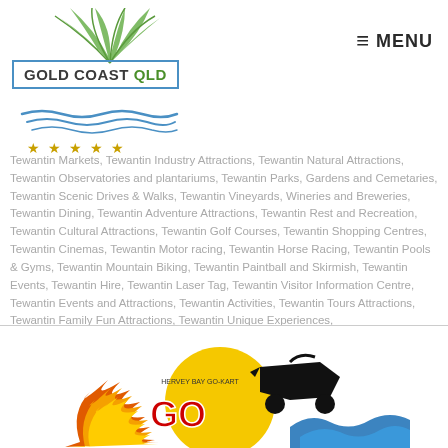[Figure (logo): Gold Coast QLD logo with palm leaves graphic and blue wave design, with gold star rating row]
MENU
Tewantin Markets, Tewantin Industry Attractions, Tewantin Natural Attractions, Tewantin Observatories and plantariums, Tewantin Parks, Gardens and Cemetaries, Tewantin Scenic Drives & Walks, Tewantin Vineyards, Wineries and Breweries, Tewantin Dining, Tewantin Adventure Attractions, Tewantin Rest and Recreation, Tewantin Cultural Attractions, Tewantin Golf Courses, Tewantin Shopping Centres, Tewantin Cinemas, Tewantin Motor racing, Tewantin Horse Racing, Tewantin Pools & Gyms, Tewantin Mountain Biking, Tewantin Paintball and Skirmish, Tewantin Events, Tewantin Hire, Tewantin Laser Tag, Tewantin Visitor Information Centre, Tewantin Events and Attractions, Tewantin Activities, Tewantin Tours Attractions, Tewantin Family Fun Attractions, Tewantin Unique Experiences,
[Figure (logo): Hervey Bay Go Karts logo with flames, go-kart silhouette, and blue wave splash at bottom]